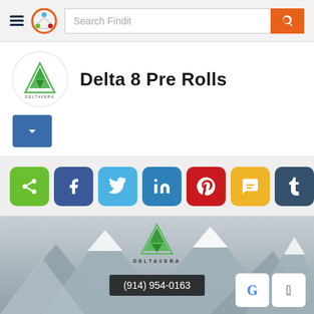[Figure (screenshot): Findit website navigation bar with hamburger menu, circular logo, search field with placeholder 'Search Findit', and orange search button]
[Figure (logo): DeltaVera triangular green mountain logo in white circular background]
Delta 8 Pre Rolls
[Figure (other): Blue dropdown button with white chevron arrow]
[Figure (infographic): Row of social share buttons: share (green), Facebook (blue), Twitter (light blue), LinkedIn (blue), Pinterest (red), SMS (yellow), Tumblr (dark blue)]
[Figure (photo): Snow-covered mountain landscape background with DeltaVera logo and phone number (914) 954-0163, plus Google and Apple app store buttons]
(914) 954-0163